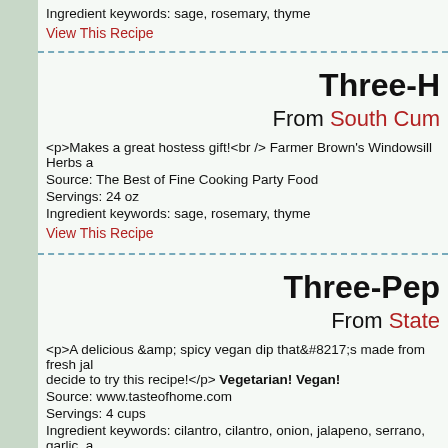Ingredient keywords: sage, rosemary, thyme
View This Recipe
Three-H...
From South Cum...
<p>Makes a great hostess gift!<br /> Farmer Brown's Windowsill Herbs a...
Source: The Best of Fine Cooking Party Food
Servings: 24 oz
Ingredient keywords: sage, rosemary, thyme
View This Recipe
Three-Pep...
From State...
<p>A delicious &amp; spicy vegan dip that&#8217;s made from fresh jal... decide to try this recipe!</p> Vegetarian! Vegan!
Source: www.tasteofhome.com
Servings: 4 cups
Ingredient keywords: cilantro, cilantro, onion, jalapeno, serrano, garlic, a...